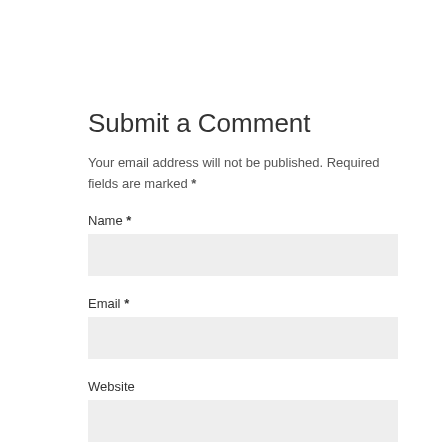Submit a Comment
Your email address will not be published. Required fields are marked *
Name *
Email *
Website